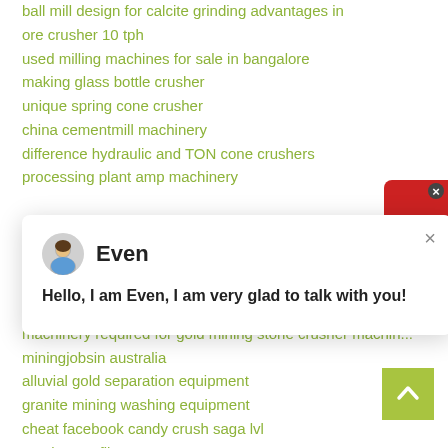ball mill design for calcite grinding advantages in
ore crusher 10 tph
used milling machines for sale in bangalore
making glass bottle crusher
unique spring cone crusher
china cementmill machinery
difference hydraulic and TON cone crushers
processing plant amp machinery
[Figure (screenshot): Chat popup with avatar of 'Even', close button (×), and message: Hello, I am Even, I am very glad to talk with you!]
[Figure (infographic): Red support widget on right edge with headset icon and close X button]
spinning mills buyers
machinery required for gold mining stone crusher machin...
miningjobsin australia
alluvial gold separation equipment
granite mining washing equipment
cheat facebook candy crush saga lvl
used press filter ore
history of iron mining industry in sa
cost of mining breakdown
[Figure (infographic): Blue circle badge with number 1]
[Figure (infographic): Green back-to-top button with upward arrow]